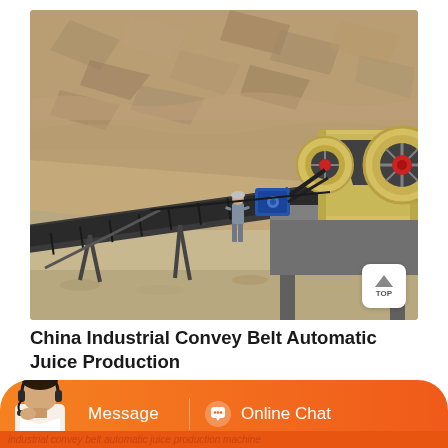[Figure (photo): Outdoor quarry scene showing an industrial conveyor belt system and jaw crusher machine. Rocky terrain in background, a worker standing near the conveyor belt. Heavy machinery including a yellow jaw crusher and blue motor visible.]
China Industrial Convey Belt Automatic Juice Production
[Figure (other): Orange chat bar at bottom with a customer service avatar on the left, Message button in center, and Online Chat button with headset icon on the right.]
industrial convey belt automatic juice production machine